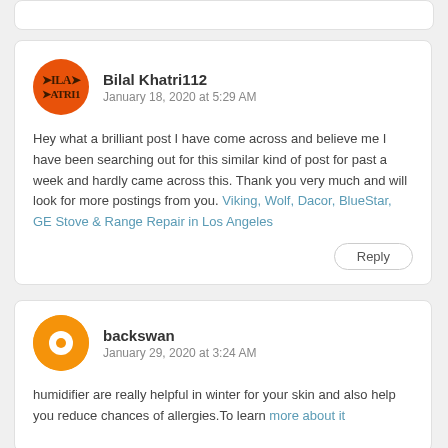Bilal Khatri112
January 18, 2020 at 5:29 AM
Hey what a brilliant post I have come across and believe me I have been searching out for this similar kind of post for past a week and hardly came across this. Thank you very much and will look for more postings from you. Viking, Wolf, Dacor, BlueStar, GE Stove & Range Repair in Los Angeles
Reply
backswan
January 29, 2020 at 3:24 AM
humidifier are really helpful in winter for your skin and also help you reduce chances of allergies.To learn more about it